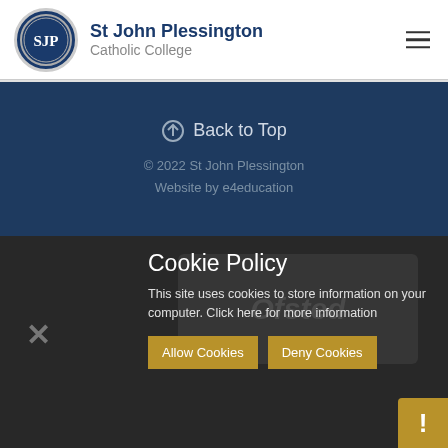St John Plessington Catholic College
⊙ Back to Top
© 2022 St John Plessington Website by e4education
Cookie Policy
This site uses cookies to store information on your computer. Click here for more information
Allow Cookies   Deny Cookies